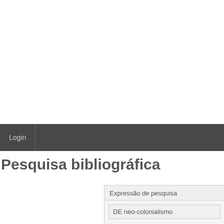Login
Pesquisa bibliográfica
Expressão de pesquisa
DE neo-colonialismo